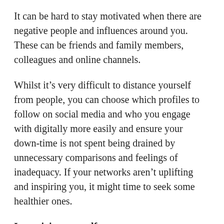It can be hard to stay motivated when there are negative people and influences around you. These can be friends and family members, colleagues and online channels.
Whilst it's very difficult to distance yourself from people, you can choose which profiles to follow on social media and who you engage with digitally more easily and ensure your down-time is not spent being drained by unnecessary comparisons and feelings of inadequacy. If your networks aren't uplifting and inspiring you, it might time to seek some healthier ones.
Incentivise yourself
It can really help to have an incentive or something to reward your progress with if you start to feel